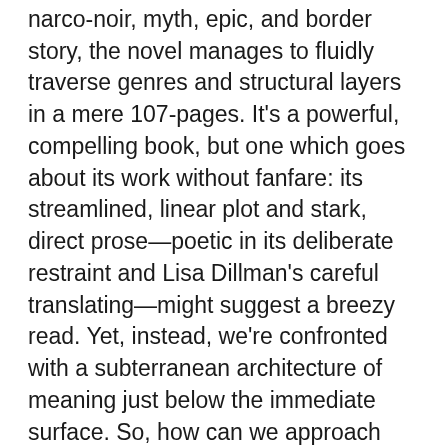narco-noir, myth, epic, and border story, the novel manages to fluidly traverse genres and structural layers in a mere 107-pages. It's a powerful, compelling book, but one which goes about its work without fanfare: its streamlined, linear plot and stark, direct prose—poetic in its deliberate restraint and Lisa Dillman's careful translating—might suggest a breezy read. Yet, instead, we're confronted with a subterranean architecture of meaning just below the immediate surface. So, how can we approach this fierce little novel's mechanical components?
Not familiar with the book? Here's how the